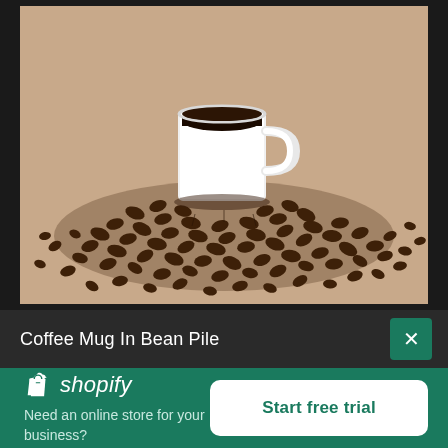[Figure (photo): A white coffee mug filled with black coffee, sitting on a large pile of roasted coffee beans spread on a beige/tan background.]
Coffee Mug In Bean Pile
[Figure (logo): Shopify logo with shopping bag icon and italic 'shopify' text in white on green background, with tagline 'Need an online store for your business?' and a 'Start free trial' white button.]